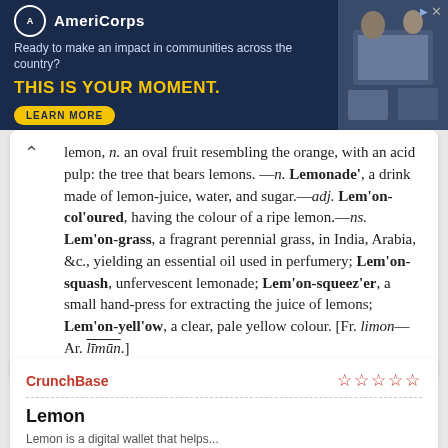[Figure (other): AmeriCorps advertisement banner with logo, tagline 'Ready to make an impact in communities across the country?', headline 'THIS IS YOUR MOMENT.', and a LEARN MORE button. Right side shows a photo of people at computers.]
lemon, n. an oval fruit resembling the orange, with an acid pulp: the tree that bears lemons. —n. Lemonade', a drink made of lemon-juice, water, and sugar.—adj. Lem'on-col'oured, having the colour of a ripe lemon.—ns. Lem'on-grass, a fragrant perennial grass, in India, Arabia, &c., yielding an essential oil used in perfumery; Lem'on-squash, unfervescent lemonade; Lem'on-squeez'er, a small hand-press for extracting the juice of lemons; Lem'on-yell'ow, a clear, pale yellow colour. [Fr. limon—Ar. līmūn.]
CrunchBase
Lemon
Lemon is a digital wallet that helps...